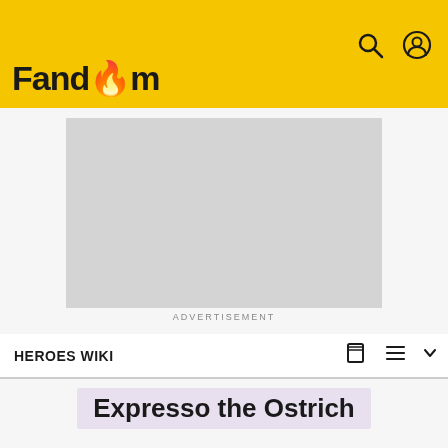Fandom
[Figure (other): Gray advertisement placeholder box]
ADVERTISEMENT
HEROES WIKI
Expresso the Ostrich
-Welcome to the Hero/Protagonist wiki! If you can help us with this wiki please sign up and help us! Thanks! -M-NUva